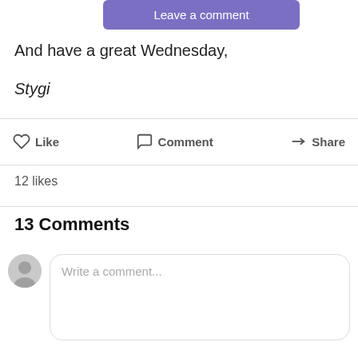[Figure (other): Leave a comment button (purple/violet background, white text)]
And have a great Wednesday,
Stygi
Like   Comment   Share
12 likes
13 Comments
Write a comment...